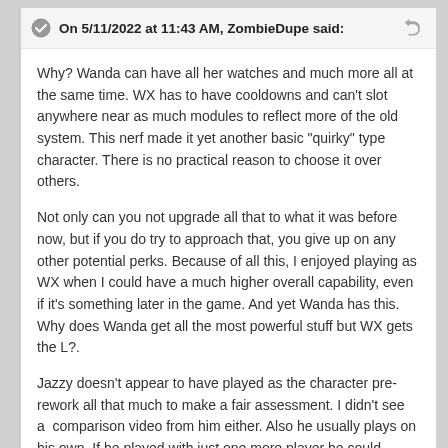On 5/11/2022 at 11:43 AM, ZombieDupe said:
Why? Wanda can have all her watches and much more all at the same time. WX has to have cooldowns and can't slot anywhere near as much modules to reflect more of the old system. This nerf made it yet another basic "quirky" type character. There is no practical reason to choose it over others.
Not only can you not upgrade all that to what it was before now, but if you do try to approach that, you give up on any other potential perks. Because of all this, I enjoyed playing as WX when I could have a much higher overall capability, even if it's something later in the game. And yet Wanda has this. Why does Wanda get all the most powerful stuff but WX gets the L?.
Jazzy doesn't appear to have played as the character pre-rework all that much to make a fair assessment. I didn't see a  comparison video from him either. Also he usually plays on his own. If he played with just one more player he could see the true potential of WX.